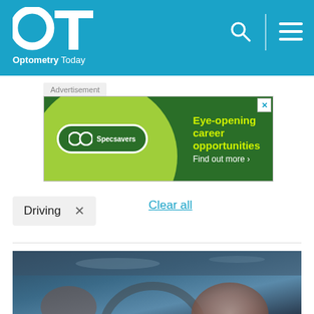OT Optometry Today
[Figure (other): Specsavers advertisement banner with green background. Text reads: Eye-opening career opportunities Find out more >. Specsavers logo on left.]
Advertisement
Driving ×
Clear all
[Figure (photo): Photo of a person's hand on a car steering wheel, taken from inside the car.]